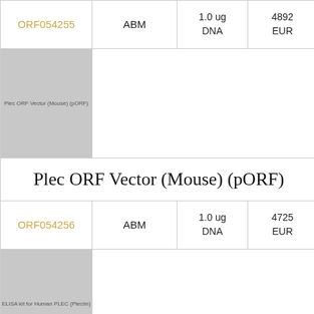| Product ID | Supplier | Quantity | Price |
| --- | --- | --- | --- |
| ORF054255 | ABM | 1.0 ug DNA | 4892 EUR |
| [image: Plec ORF Vector (Mouse) (pORF)] |  |  |  |
| Plec ORF Vector (Mouse) (pORF) |  |  |  |
| ORF054256 | ABM | 1.0 ug DNA | 4725 EUR |
| [image: ELISA kit for Human PLEC (Plectin)] |  |  |  |
| ELISA kit for Human PLEC (Plectin) |  |  |  |